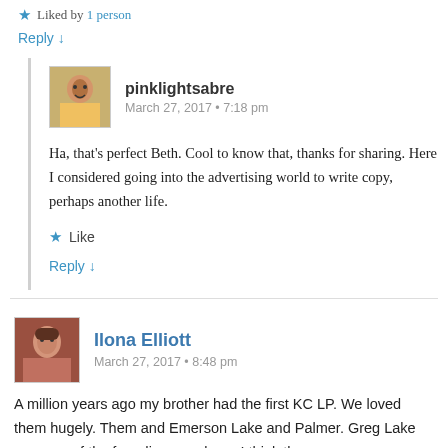★ Liked by 1 person
Reply ↓
pinklightsabre
March 27, 2017 • 7:18 pm
Ha, that's perfect Beth. Cool to know that, thanks for sharing. Here I considered going into the advertising world to write copy, perhaps another life.
★ Like
Reply ↓
Ilona Elliott
March 27, 2017 • 8:48 pm
A million years ago my brother had the first KC LP. We loved them hugely. Them and Emerson Lake and Palmer. Greg Lake was one of the founding members. I think those